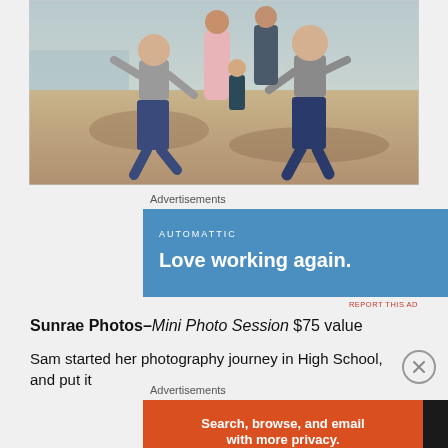[Figure (photo): Family photo on a sandy beach area near water. Two young boys in gray shirts and jeans are running toward the camera with mouths open laughing. A woman in a pink dress and a man stand behind. A toddler stands between them.]
Advertisements
[Figure (other): Blue advertisement banner for Automattic with text 'Love working again.']
REPORT THIS AD
Sunrae Photos – Mini Photo Session $75 value
Sam started her photography journey in High School, and put it
Advertisements
[Figure (other): Advertisement for DuckDuckGo: orange left side with text 'Search, browse, and email with more privacy. All in One Free App', dark right side with DuckDuckGo duck logo and DuckDuckGo text.]
REPORT THIS AD